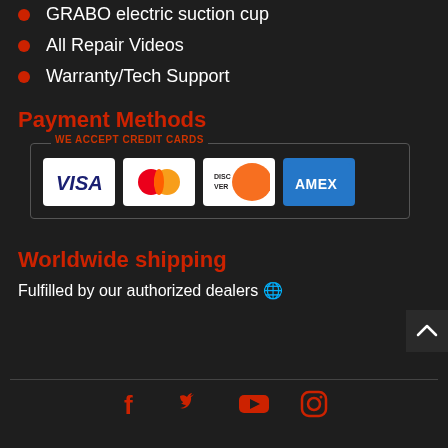GRABO electric suction cup
All Repair Videos
Warranty/Tech Support
Payment Methods
[Figure (infographic): Credit card logos panel: WE ACCEPT CREDIT CARDS — Visa, Mastercard, Discover, Amex]
Worldwide shipping
Fulfilled by our authorized dealers 🌐
[Figure (infographic): Social media icons row: Facebook, Twitter, YouTube, Instagram]